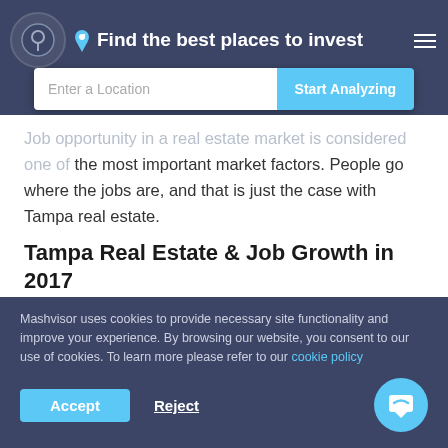Find the best places to invest
Job opportunity in a real estate market is considered one of the most important market factors. People go where the jobs are, and that is just the case with Tampa real estate.
Tampa Real Estate & Job Growth in 2017
In 2017, WalletHub considered Tampa the third best city to find a job in the nation. Thanks to the growing construction and education jobs offered, job openings were growing
Mashvisor uses cookies to provide necessary site functionality and improve your experience. By browsing our website, you consent to our use of cookies. To learn more please refer to our cookie policy